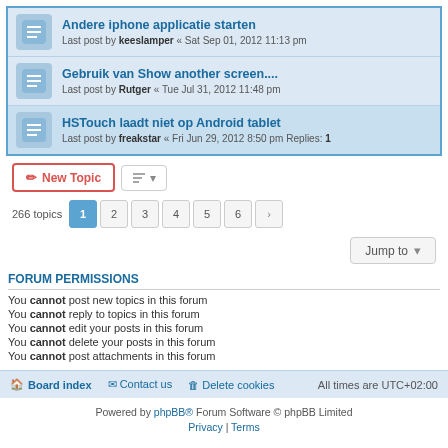Andere iphone applicatie starten
Last post by keeslamper « Sat Sep 01, 2012 11:13 pm
Gebruik van Show another screen....
Last post by Rutger « Tue Jul 31, 2012 11:48 pm
HSTouch laadt niet op Android tablet
Last post by freakstar « Fri Jun 29, 2012 8:50 pm
Replies: 1
New Topic | 266 topics | 1 2 3 4 5 6 > | Jump to
FORUM PERMISSIONS
You cannot post new topics in this forum
You cannot reply to topics in this forum
You cannot edit your posts in this forum
You cannot delete your posts in this forum
You cannot post attachments in this forum
Board index | Contact us | Delete cookies | All times are UTC+02:00
Powered by phpBB® Forum Software © phpBB Limited
Privacy | Terms